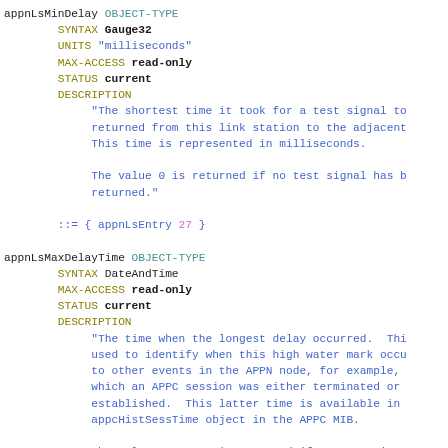appnLsMinDelay OBJECT-TYPE SYNTAX Gauge32 UNITS "milliseconds" MAX-ACCESS read-only STATUS current DESCRIPTION "The shortest time it took for a test signal to returned from this link station to the adjacent This time is represented in milliseconds. The value 0 is returned if no test signal has b returned." ::= { appnLsEntry 27 } appnLsMaxDelayTime OBJECT-TYPE SYNTAX DateAndTime MAX-ACCESS read-only STATUS current DESCRIPTION "The time when the longest delay occurred. Thi used to identify when this high water mark occu to other events in the APPN node, for example, which an APPC session was either terminated or established. This latter time is available in appcHistSessTime object in the APPC MIB. The value 00000000 is returned if no test signa and returned."